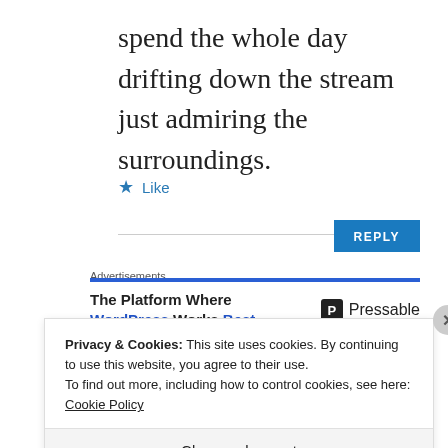spend the whole day drifting down the stream just admiring the surroundings.
★ Like
REPLY
Advertisements
[Figure (other): Pressable advertisement: 'The Platform Where WordPress Works Best' with Pressable logo]
REPORT THIS AD
Privacy & Cookies: This site uses cookies. By continuing to use this website, you agree to their use.
To find out more, including how to control cookies, see here: Cookie Policy
Close and accept